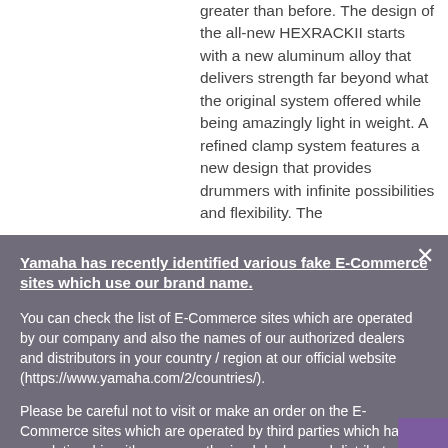greater than before. The design of the all-new HEXRACKII starts with a new aluminum alloy that delivers strength far beyond what the original system offered while being amazingly light in weight. A refined clamp system features a new design that provides drummers with infinite possibilities and flexibility. The
Yamaha has recently identified various fake E-Commerce sites which use our brand name.
You can check the list of E-Commerce sites which are operated by our company and also the names of our authorized dealers and distributors in your country / region at our official website (https://www.yamaha.com/2/countries/).
Please be careful not to visit or make an order on the E-Commerce sites which are operated by third parties which have no relationship with us, our authorized dealers and distributors.